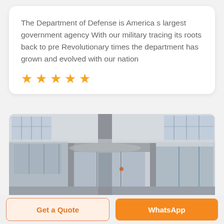The Department of Defense is America s largest government agency With our military tracing its roots back to pre Revolutionary times the department has grown and evolved with our nation
[Figure (other): Five orange star rating icons in a row]
[Figure (photo): Interior photo of a building entrance with revolving doors, metal columns, and large windows in a gray-toned industrial or government facility]
Get a Quote
WhatsApp